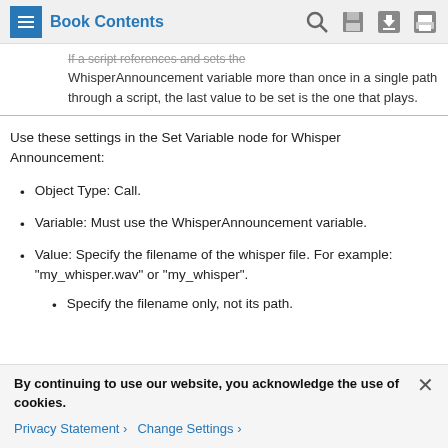Book Contents
If a script references and sets the WhisperAnnouncement variable more than once in a single path through a script, the last value to be set is the one that plays.
Use these settings in the Set Variable node for Whisper Announcement:
Object Type: Call.
Variable: Must use the WhisperAnnouncement variable.
Value: Specify the filename of the whisper file. For example: "my_whisper.wav" or "my_whisper".
Specify the filename only, not its path.
By continuing to use our website, you acknowledge the use of cookies.
Privacy Statement > Change Settings >